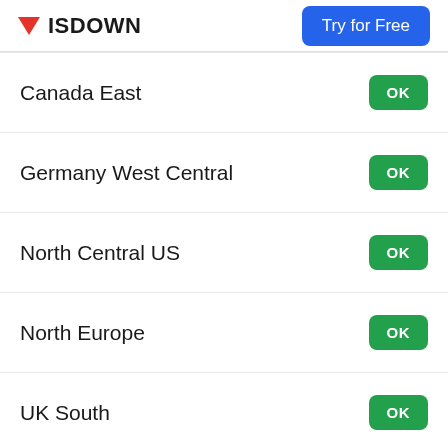ISDOWN | Try for Free
Canada East — OK
Germany West Central — OK
North Central US — OK
North Europe — OK
UK South — OK